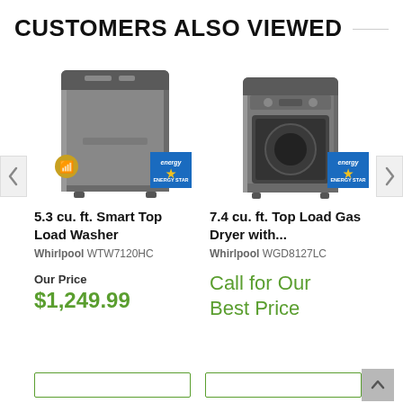CUSTOMERS ALSO VIEWED
[Figure (photo): Whirlpool top load washing machine in chrome shadow color with Energy Star badge and WiFi badge]
5.3 cu. ft. Smart Top Load Washer
Whirlpool WTW7120HC
Our Price
$1,249.99
[Figure (photo): Whirlpool top load gas dryer in chrome shadow color with Energy Star badge]
7.4 cu. ft. Top Load Gas Dryer with...
Whirlpool WGD8127LC
Call for Our Best Price